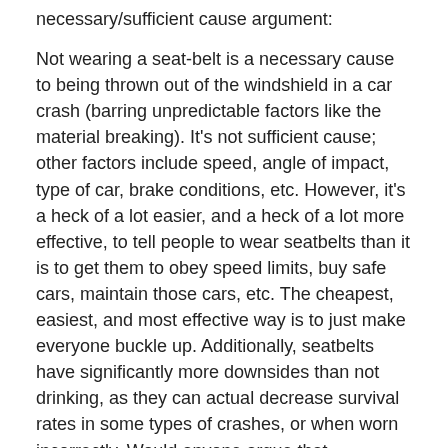necessary/sufficient cause argument:
Not wearing a seat-belt is a necessary cause to being thrown out of the windshield in a car crash (barring unpredictable factors like the material breaking). It's not sufficient cause; other factors include speed, angle of impact, type of car, brake conditions, etc. However, it's a heck of a lot easier, and a heck of a lot more effective, to tell people to wear seatbelts than it is to get them to obey speed limits, buy safe cars, maintain those cars, etc. The cheapest, easiest, and most effective way is to just make everyone buckle up. Additionally, seatbelts have significantly more downsides than not drinking, as they can actual decrease survival rates in some types of crashes, or when worn incorrectly. Would anyone argue that encouraging seat belt use is a bad thing?
Umlud — February 23, 2010
The article seemed to me to be addressing a point while